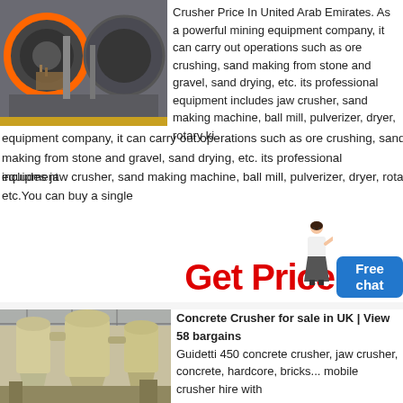[Figure (photo): Industrial mining crusher equipment showing large rotating drums and machinery in an outdoor/industrial setting]
Crusher Price In United Arab Emirates. As a powerful mining equipment company, it can carry out operations such as ore crushing, sand making from stone and gravel, sand drying, etc. its professional equipment includes jaw crusher, sand making machine, ball mill, pulverizer, dryer, rotary kiln, etc.You can buy a single
Get Price
[Figure (photo): Industrial factory interior with large yellow/cream colored cyclone dust collectors and processing equipment under a steel-framed roof]
Concrete Crusher for sale in UK | View 58 bargains
Guidetti 450 concrete crusher, jaw crusher, concrete, hardcore, bricks... mobile crusher hire with